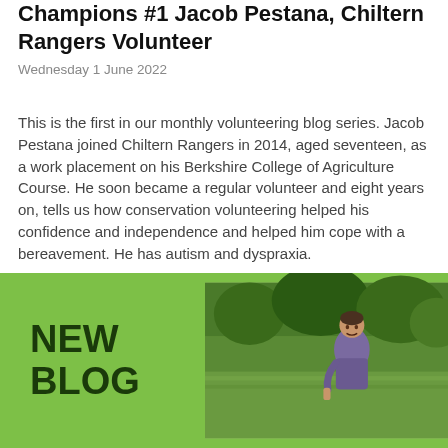The Heart of the Chilterns: Volunteer Champions #1 Jacob Pestana, Chiltern Rangers Volunteer
Wednesday 1 June 2022
This is the first in our monthly volunteering blog series. Jacob Pestana joined Chiltern Rangers in 2014, aged seventeen, as a work placement on his Berkshire College of Agriculture Course. He soon became a regular volunteer and eight years on, tells us how conservation volunteering helped his confidence and independence and helped him cope with a bereavement. He has autism and dyspraxia.
[Figure (photo): Green banner with 'NEW BLOG' text on the left in dark green bold font, and a photograph on the right showing a man standing outdoors in a green countryside setting with trees in the background, wearing a purple/grey hoodie.]